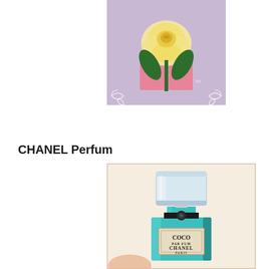[Figure (illustration): Painting of a white/yellow rose with green leaves in a pink vase on a lavender background with decorative white flourishes in corners. Artist initials KK visible.]
CHANEL Perfum
[Figure (illustration): Painting of a teal/turquoise Chanel Coco Parfum perfume bottle on a white canvas. The bottle has a clear glass top cap with a black collar and a rectangular teal body with a label reading COCO PARFUM CHANEL PARIS.]